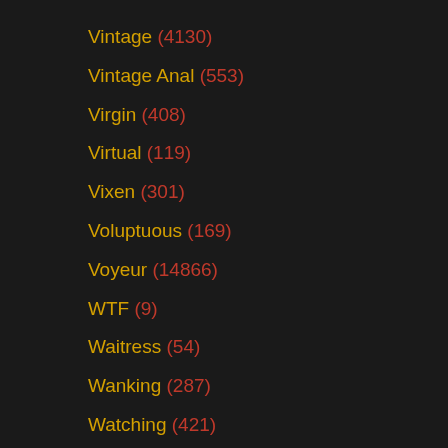Vintage (4130)
Vintage Anal (553)
Virgin (408)
Virtual (119)
Vixen (301)
Voluptuous (169)
Voyeur (14866)
WTF (9)
Waitress (54)
Wanking (287)
Watching (421)
Watersports (99)
Wax (111)
Webcam (14866)
Wedding (66)